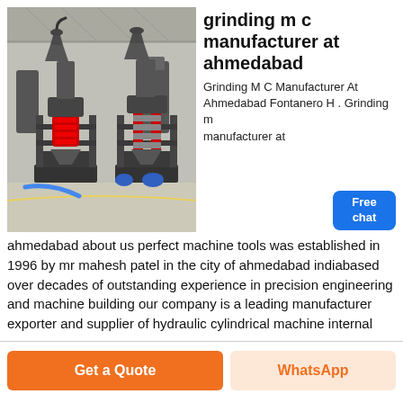[Figure (photo): Industrial grinding machines (vertical grinding mills) in a large factory/warehouse setting. Two prominent machines in foreground with red and black mechanical components, more machines visible in background.]
grinding m c manufacturer at ahmedabad
Grinding M C Manufacturer At Ahmedabad Fontanero H . Grinding m manufacturer at ahmedabad about us perfect machine tools was established in 1996 by mr mahesh patel in the city of ahmedabad indiabased over decades of outstanding experience in precision engineering and machine building our company is a leading manufacturer exporter and supplier of hydraulic cylindrical machine internal
Get a Quote
WhatsApp